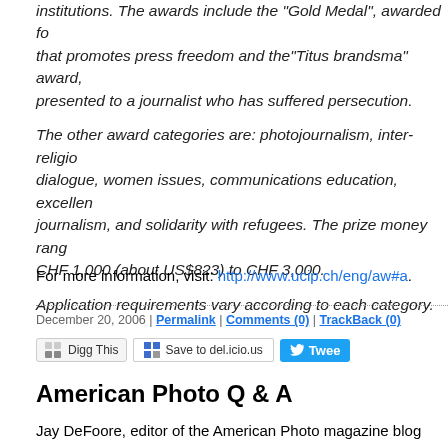institutions. The awards include the "Gold Medal", awarded fo... that promotes press freedom and the "Titus brandsma" award, presented to a journalist who has suffered persecution.
The other award categories are: photojournalism, inter-religio... dialogue, women issues, communications education, excellen... journalism, and solidarity with refugees. The prize money rang... CHF 1,000 (about US$823) to CHF 3,000.
Application requirements vary according to each category.
For more information, visit: http://www.ucip.ch/eng/aw#a.
December 20, 2006 | Permalink | Comments (0) | TrackBack (0)
[Figure (other): Social sharing buttons: Digg This, Save to del.icio.us, Tweet]
American Photo Q & A
Jay DeFoore, editor of the American Photo magazine blog PopPhoto has po... the session he used to write his recent article on influential bloggers.
Here's Jay DeFoore's interview
JD: Do you have a mission statement for the blog?